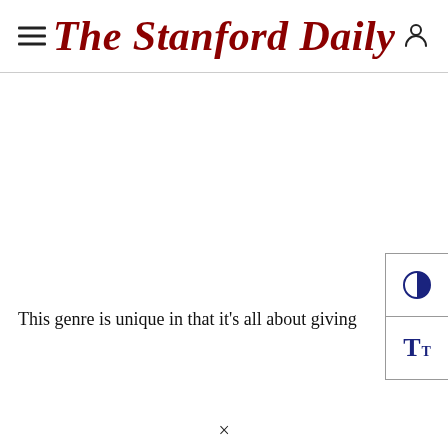The Stanford Daily
This genre is unique in that it's all about giving
[Figure (other): UI widget panel with contrast toggle (half-filled circle icon) and font size toggle (Tt icon), displayed in a bordered box on the right side of the page]
×